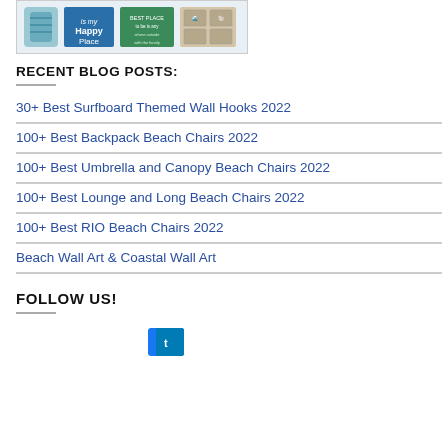[Figure (photo): A group of beach-themed decorative products including a blue lantern, a 'Happy Place' sign, a green inspirational sign, and a wooden box with coastal motifs.]
RECENT BLOG POSTS:
30+ Best Surfboard Themed Wall Hooks 2022
100+ Best Backpack Beach Chairs 2022
100+ Best Umbrella and Canopy Beach Chairs 2022
100+ Best Lounge and Long Beach Chairs 2022
100+ Best RIO Beach Chairs 2022
Beach Wall Art & Coastal Wall Art
FOLLOW US!